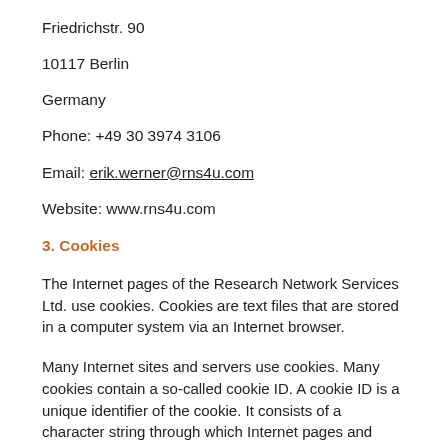Friedrichstr. 90
10117 Berlin
Germany
Phone: +49 30 3974 3106
Email: erik.werner@rns4u.com
Website: www.rns4u.com
3. Cookies
The Internet pages of the Research Network Services Ltd. use cookies. Cookies are text files that are stored in a computer system via an Internet browser.
Many Internet sites and servers use cookies. Many cookies contain a so-called cookie ID. A cookie ID is a unique identifier of the cookie. It consists of a character string through which Internet pages and servers can be assigned to the specific Internet